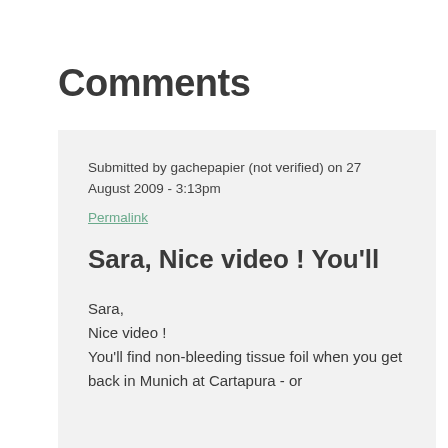Comments
Submitted by gachepapier (not verified) on 27 August 2009 - 3:13pm
Permalink
Sara, Nice video ! You'll
Sara,
Nice video !
You'll find non-bleeding tissue foil when you get back in Munich at Cartapura - or